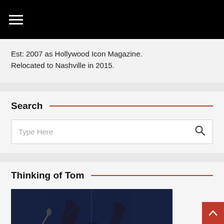≡ (hamburger menu icon)
Est: 2007 as Hollywood Icon Magazine. Relocated to Nashville in 2015.
Search
Type Here
Thinking of Tom
[Figure (photo): A performer on stage with arms raised, blue-lit concert photo]